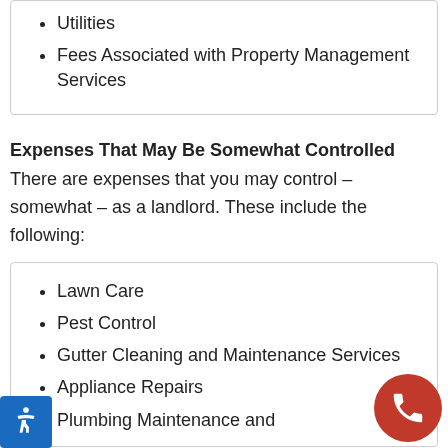Utilities
Fees Associated with Property Management Services
Expenses That May Be Somewhat Controlled
There are expenses that you may control – somewhat – as a landlord. These include the following:
Lawn Care
Pest Control
Gutter Cleaning and Maintenance Services
Appliance Repairs
Plumbing Maintenance and